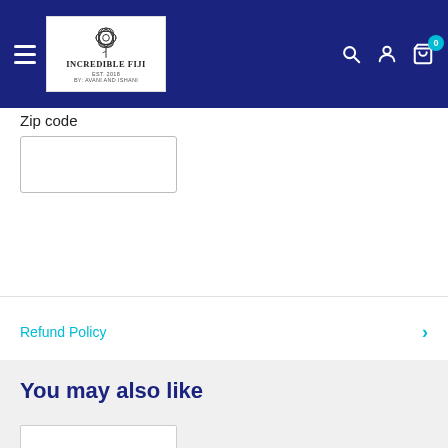[Figure (screenshot): Navigation bar with hamburger menu, Incredible Fiji logo, search, account, and cart icons on dark blue background]
Zip code
[Figure (screenshot): Empty zip code input text field with border]
[Figure (screenshot): Cyan 'Estimate' button]
Refund Policy
You may also like